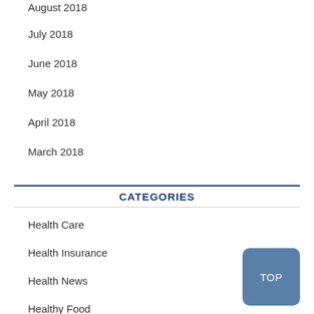August 2018
July 2018
June 2018
May 2018
April 2018
March 2018
CATEGORIES
Health Care
Health Insurance
Health News
Healthy Food